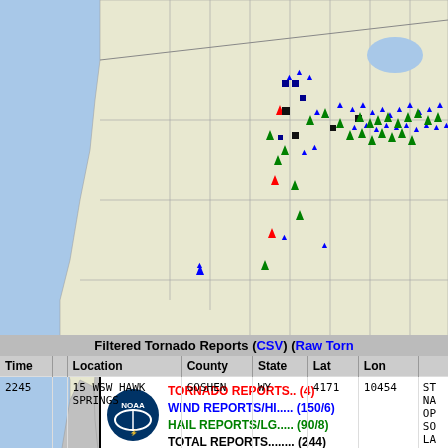[Figure (map): NOAA Storm Prediction Center map of the continental United States showing tornado reports (red markers), high wind reports (blue markers), and large hail reports (green markers) clustered mainly in the central/midwest states. Legend box shows: TORNADO REPORTS.. (4), WIND REPORTS/HI..... (150/6), HAIL REPORTS/LG..... (90/8), TOTAL REPORTS........ (244). National Weather Service Storm Prediction Center, Norman, Oklahoma. PRELIMINARY DATA.]
Filtered Tornado Reports (CSV) (Raw Torn
| Time |  | Location | County | State | Lat | Lon |  |
| --- | --- | --- | --- | --- | --- | --- | --- |
| 2245 |  | 15 WSW HAWK SPRINGS | GOSHEN | WY | 4171 | 10454 | ST NA OP SO LA 44 |
|  |  | 0 ENE |  |  |  |  |  |